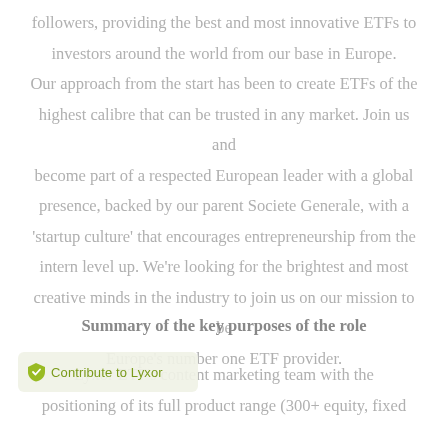followers, providing the best and most innovative ETFs to investors around the world from our base in Europe. Our approach from the start has been to create ETFs of the highest calibre that can be trusted in any market. Join us and become part of a respected European leader with a global presence, backed by our parent Societe Generale, with a 'startup culture' that encourages entrepreneurship from the intern level up. We're looking for the brightest and most creative minds in the industry to join us on our mission to be Europe's number one ETF provider.
Summary of the key purposes of the role
Contribute to Lyxor ETF's content marketing team with the positioning of its full product range (300+ equity, fixed